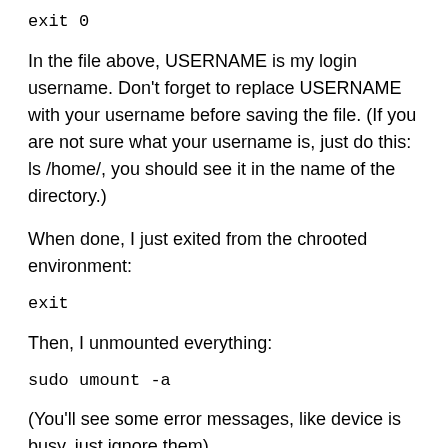exit 0
In the file above, USERNAME is my login username. Don't forget to replace USERNAME with your username before saving the file. (If you are not sure what your username is, just do this: ls /home/, you should see it in the name of the directory.)
When done, I just exited from the chrooted environment:
exit
Then, I unmounted everything:
sudo umount -a
(You'll see some error messages, like device is busy, just ignore them)